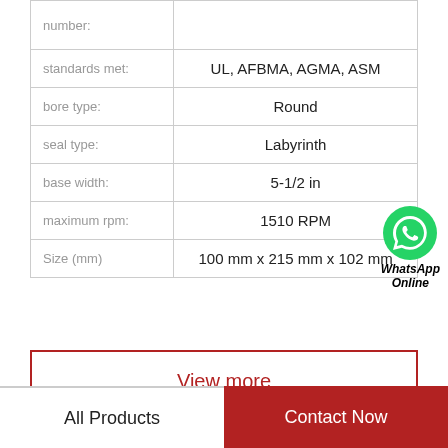| Property | Value |
| --- | --- |
| number: |  |
| standards met: | UL, AFBMA, AGMA, ASM |
| bore type: | Round |
| seal type: | Labyrinth |
| base width: | 5-1/2 in |
| maximum rpm: | 1510 RPM |
| Size (mm) | 100 mm x 215 mm x 102 mm |
[Figure (logo): WhatsApp Online button — green circle with phone icon, text 'WhatsApp Online' in bold italic]
View more
All Products | Contact Now